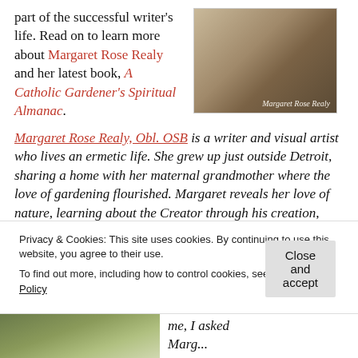part of the successful writer's life. Read on to learn more about Margaret Rose Realy and her latest book, A Catholic Gardener's Spiritual Almanac.
[Figure (photo): Book cover photo showing garden tools and a bag on a wooden surface, with the text 'Margaret Rose Realy' at the bottom right.]
Margaret Rose Realy, Obl. OSB is a writer and visual artist who lives an ermetic life. She grew up just outside Detroit, sharing a home with her maternal grandmother where the love of gardening flourished. Margaret reveals her love of nature, learning about the Creator through his creation, with a Benedictine
Privacy & Cookies: This site uses cookies. By continuing to use this website, you agree to their use.
To find out more, including how to control cookies, see here: Cookie Policy
Close and accept
[Figure (photo): Partial photo of a person (Margaret Rose Realy) at the bottom left of the page.]
me, I asked Marg...